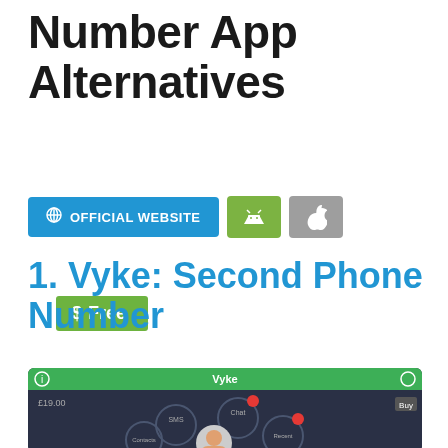Number App Alternatives
$ Free
OFFICIAL WEBSITE  [Android]  [Apple]
1. Vyke: Second Phone Number
[Figure (screenshot): Screenshot of the Vyke app interface showing a dark-themed UI with a green top bar labeled 'Vyke', price shown as £19.00, and circular menu icons for SMS, Chat, Contacts, and Recent with notification badges.]